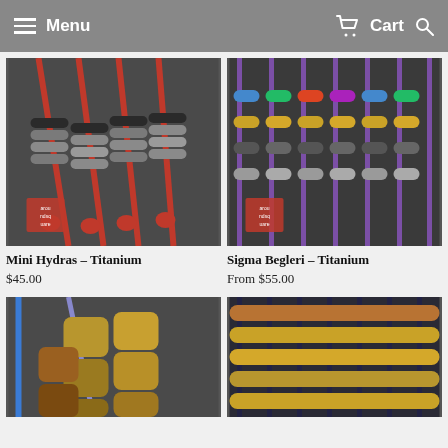Menu   Cart
[Figure (photo): Mini Hydras titanium beads on red paracord, multiple pieces fanned out on dark background with aroundsquare logo]
Mini Hydras – Titanium
$45.00
[Figure (photo): Sigma Begleri titanium beads on purple paracord in multiple color anodizations (rainbow, gunmetal, gold) on dark background with aroundsquare logo]
Sigma Begleri – Titanium
From $55.00
[Figure (photo): Brass/bronze cylindrical beads on blue paracord on dark background, partially shown]
[Figure (photo): Multiple begleri with copper, gold and brass beads on dark navy paracord, partially shown]